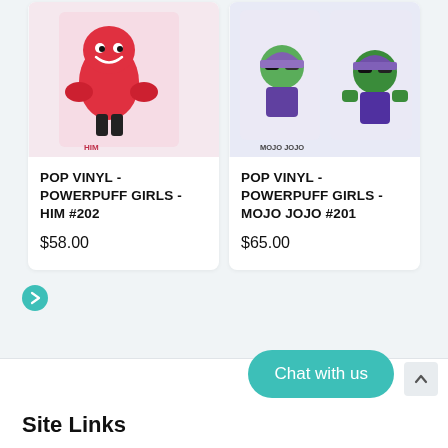[Figure (photo): Product card showing Funko POP Vinyl Powerpuff Girls HIM #202 figure in pink packaging]
POP VINYL - POWERPUFF GIRLS - HIM #202
$58.00
[Figure (photo): Product card showing Funko POP Vinyl Powerpuff Girls Mojo Jojo #201 figure in packaging with two figures shown]
POP VINYL - POWERPUFF GIRLS - MOJO JOJO #201
$65.00
[Figure (other): Teal circle arrow/next page icon]
Chat with us
Site Links